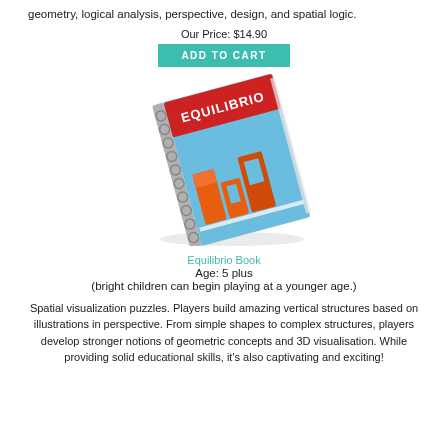geometry, logical analysis, perspective, design, and spatial logic.
Our Price: $14.90
ADD TO CART
[Figure (photo): A spiral-bound book titled 'Equilibrio' with a red cover, shown at an angle. The cover features orange 3D block structures arranged vertically on a blue background.]
Equilibrio Book
Age: 5 plus
(bright children can begin playing at a younger age.)
Spatial visualization puzzles. Players build amazing vertical structures based on illustrations in perspective. From simple shapes to complex structures, players develop stronger notions of geometric concepts and 3D visualisation. While providing solid educational skills, it's also captivating and exciting!